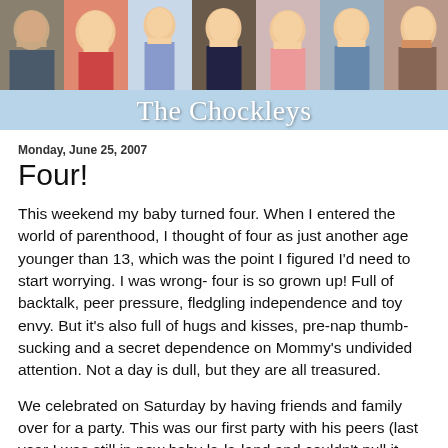[Figure (photo): Blog header banner for 'The Chockleys' with a blue background, a strip of family photos across the top showing a man and several children, and the site title 'The Chockleys' in white serif text below.]
Monday, June 25, 2007
Four!
This weekend my baby turned four. When I entered the world of parenthood, I thought of four as just another age younger than 13, which was the point I figured I'd need to start worrying. I was wrong- four is so grown up! Full of backtalk, peer pressure, fledgling independence and toy envy. But it's also full of hugs and kisses, pre-nap thumb-sucking and a secret dependence on Mommy's undivided attention. Not a day is dull, but they are all treasured.
We celebrated on Saturday by having friends and family over for a party. This was our first party with his peers (last year I was still in new baby la-la-land and couldn't pull it together).